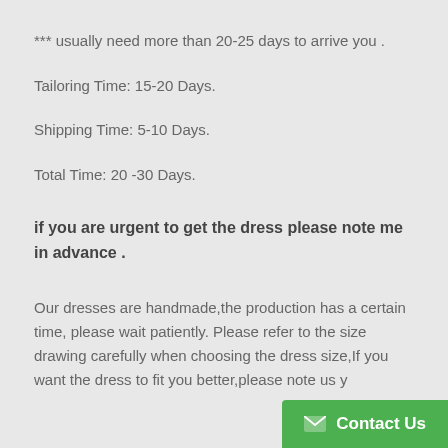*** usually need more than 20-25 days to arrive you .
Tailoring Time: 15-20 Days.
Shipping Time: 5-10 Days.
Total Time: 20 -30 Days.
if you are urgent to get the dress please note me in advance .
Our dresses are handmade,the production has a certain time, please wait patiently. Please refer to the size drawing carefully when choosing the dress size,If you want the dress to fit you better,please note us y...